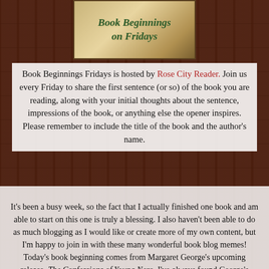[Figure (illustration): Book Beginnings on Fridays banner image with italic text on a book/parchment background]
Book Beginnings Fridays is hosted by Rose City Reader. Join us every Friday to share the first sentence (or so) of the book you are reading, along with your initial thoughts about the sentence, impressions of the book, or anything else the opener inspires. Please remember to include the title of the book and the author's name.
It's been a busy week, so the fact that I actually finished one book and am able to start on this one is truly a blessing. I also haven't been able to do as much blogging as I would like or create more of my own content, but I'm happy to join in with these many wonderful book blog memes! Today's book beginning comes from Margaret George's upcoming release, The Confessions of Young Nero. I've always found George's writing to be quite lovely and I have enjoyed her previous takes on historical figures, such as in Helen of Troy. I just started the ARC copy that I have been holding